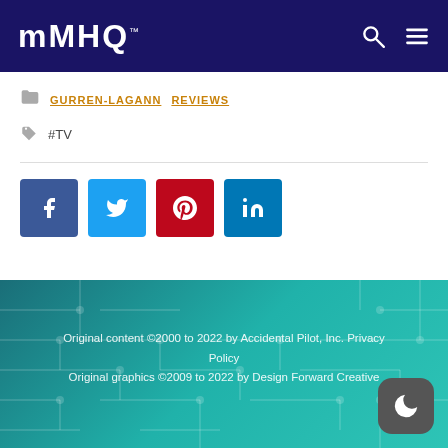MAHQ
GURREN-LAGANN  REVIEWS
#TV
[Figure (infographic): Social sharing buttons: Facebook (blue), Twitter (light blue), Pinterest (red), LinkedIn (blue)]
Original content ©2000 to 2022 by Accidental Pilot, Inc. Privacy Policy
Original graphics ©2009 to 2022 by Design Forward Creative